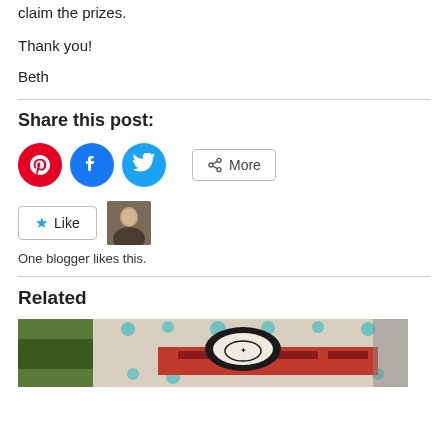claim the prizes.
Thank you!
Beth
Share this post:
[Figure (other): Social share buttons: Pinterest (red circle), Facebook (blue circle), Twitter (light blue circle), and a More button with share icon]
[Figure (other): Like button with star icon and a blogger avatar thumbnail. Text: One blogger likes this.]
Related
[Figure (photo): A decorative sign or artwork featuring red and black ornamental design on a white/cream background with teal/turquoise dot decorations, photographed outdoors.]